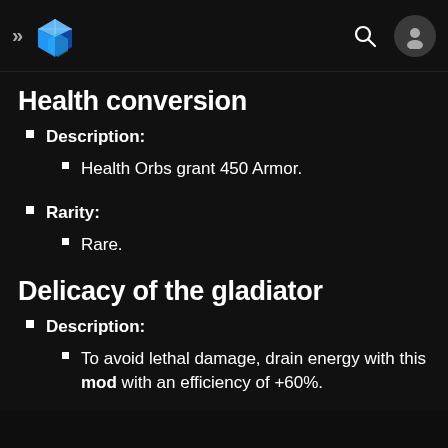>> [logo] [search] [avatar]
Health conversion
Description:
Health Orbs grant 450 Armor.
Rarity:
Rare.
Delicacy of the gladiator
Description:
To avoid lethal damage, drain energy with this mod with an efficiency of +60%.